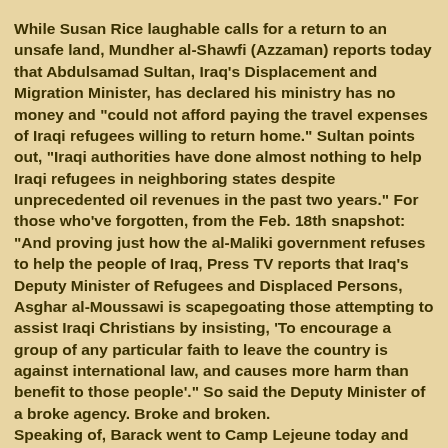While Susan Rice laughable calls for a return to an unsafe land, Mundher al-Shawfi (Azzaman) reports today that Abdulsamad Sultan, Iraq's Displacement and Migration Minister, has declared his ministry has no money and "could not afford paying the travel expenses of Iraqi refugees willing to return home." Sultan points out, "Iraqi authorities have done almost nothing to help Iraqi refugees in neighboring states despite unprecedented oil revenues in the past two years." For those who've forgotten, from the Feb. 18th snapshot: "And proving just how the al-Maliki government refuses to help the people of Iraq, Press TV reports that Iraq's Deputy Minister of Refugees and Displaced Persons, Asghar al-Moussawi is scapegoating those attempting to assist Iraqi Christians by insisting, 'To encourage a group of any particular faith to leave the country is against international law, and causes more harm than benefit to those people'." So said the Deputy Minister of a broke agency. Broke and broken. Speaking of, Barack went to Camp Lejeune today and gave a speech. Pretty words. Let's give Barack some